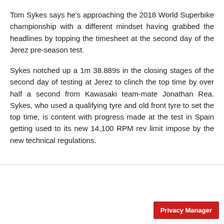Tom Sykes says he's approaching the 2018 World Superbike championship with a different mindset having grabbed the headlines by topping the timesheet at the second day of the Jerez pre-season test.
Sykes notched up a 1m 38.889s in the closing stages of the second day of testing at Jerez to clinch the top time by over half a second from Kawasaki team-mate Jonathan Rea. Sykes, who used a qualifying tyre and old front tyre to set the top time, is content with progress made at the test in Spain getting used to its new 14,100 RPM rev limit impose by the new technical regulations.
Privacy Manager